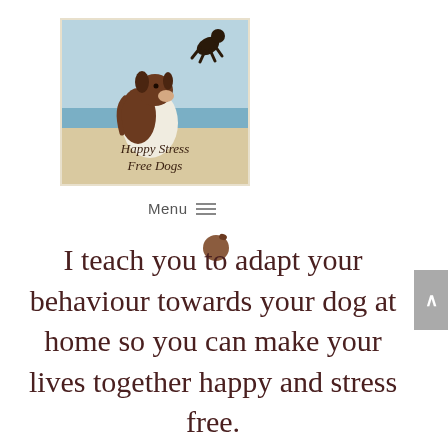[Figure (logo): Happy Stress Free Dogs logo: illustration of a large brown and white dog sitting on a beach looking up at a small dark dog jumping, with ocean horizon behind. Text reads 'Happy Stress Free Dogs' on sandy/beige background.]
Menu
[Figure (illustration): Small brown dog head / paw icon below the menu hamburger icon]
I teach you to adapt your behaviour towards your dog at home so you can make your lives together happy and stress free.